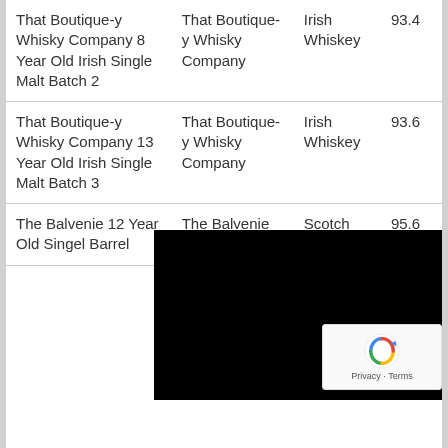| Name | Brand | Category | Score |
| --- | --- | --- | --- |
| That Boutique-y Whisky Company 8 Year Old Irish Single Malt Batch 2 | That Boutique-y Whisky Company | Irish Whiskey | 93.4 |
| That Boutique-y Whisky Company 13 Year Old Irish Single Malt Batch 3 | That Boutique-y Whisky Company | Irish Whiskey | 93.6 |
| The Balvenie 12 Year Old Singel Barrel | The Balvenie | Scotch | 95.6 |